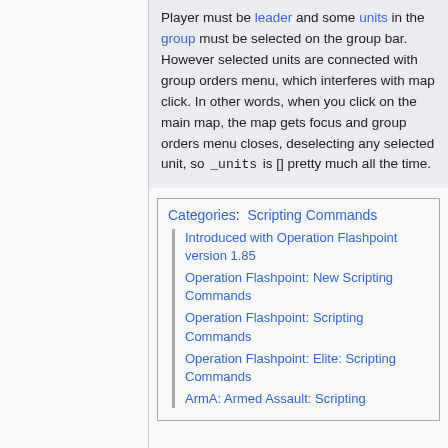Player must be leader and some units in the group must be selected on the group bar. However selected units are connected with group orders menu, which interferes with map click. In other words, when you click on the main map, the map gets focus and group orders menu closes, deselecting any selected unit, so _units is [] pretty much all the time.
Categories: Scripting Commands
Introduced with Operation Flashpoint version 1.85
Operation Flashpoint: New Scripting Commands
Operation Flashpoint: Scripting Commands
Operation Flashpoint: Elite: Scripting Commands
ArmA: Armed Assault: Scripting